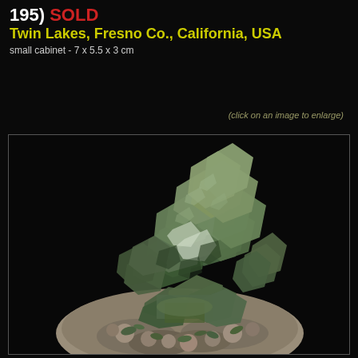195) SOLD
Twin Lakes, Fresno Co., California, USA
small cabinet - 7 x 5.5 x 3 cm
(click on an image to enlarge)
[Figure (photo): Photograph of a green mineral specimen (chlorite or epidote) cluster on a rocky matrix, photographed against a black background. The specimen shows multiple green platy/tabular crystals arranged in a rosette-like cluster on top, with a rough pale matrix base.]